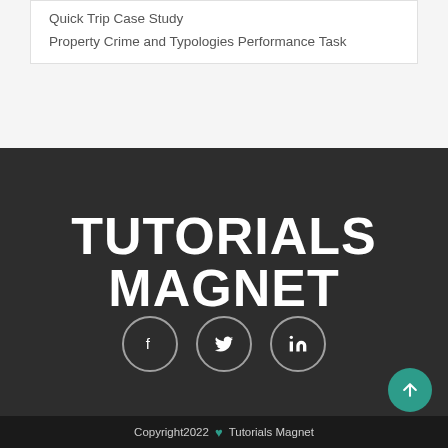Quick Trip Case Study
Property Crime and Typologies Performance Task
TUTORIALS MAGNET
[Figure (infographic): Three circular social media icon buttons: Facebook (f), Twitter (bird), LinkedIn (in), with white outlines on dark background]
Copyright2022 ♥ Tutorials Magnet